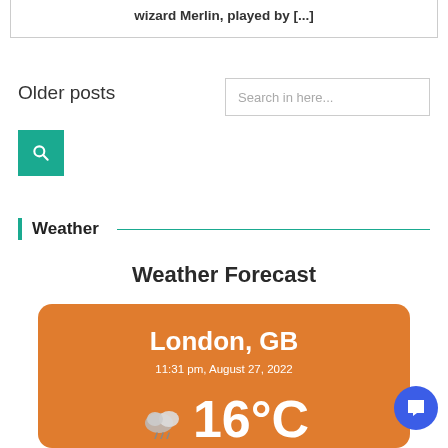wizard Merlin, played by [...]
Older posts
Search in here...
[Figure (illustration): Teal search button with magnifying glass icon]
Weather
Weather Forecast
[Figure (infographic): Orange weather card showing London, GB, 11:31 pm, August 27, 2022, 16°C with cloud/rain icon]